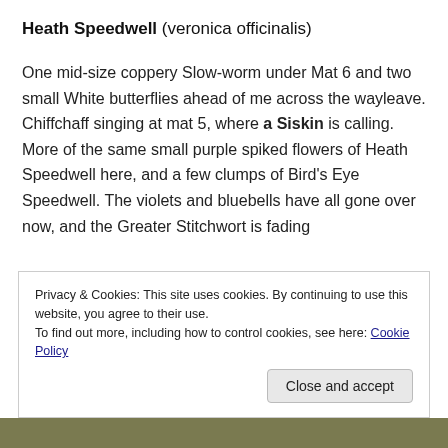Heath Speedwell (veronica officinalis)
One mid-size coppery Slow-worm under Mat 6 and two small White butterflies ahead of me across the wayleave.
Chiffchaff singing at mat 5, where a Siskin is calling.
More of the same small purple spiked flowers of Heath Speedwell here, and a few clumps of Bird's Eye Speedwell. The violets and bluebells have all gone over now, and the Greater Stitchwort is fading
Privacy & Cookies: This site uses cookies. By continuing to use this website, you agree to their use.
To find out more, including how to control cookies, see here: Cookie Policy